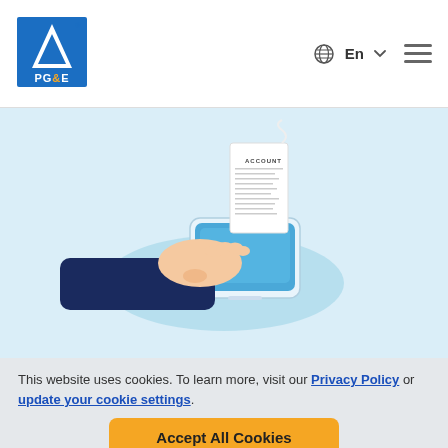[Figure (logo): PG&E logo with blue and white design]
[Figure (illustration): Isometric illustration of a hand holding a smartphone with an account statement on a light blue background]
Add someone to your account, like a friend or family member, so they can speak on your behalf,
This website uses cookies. To learn more, visit our Privacy Policy or update your cookie settings.
Accept All Cookies